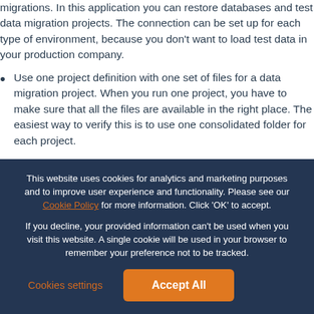migrations. In this application you can restore databases and test data migration projects. The connection can be set up for each type of environment, because you don’t want to load test data in your production company.
Use one project definition with one set of files for a data migration project. When you run one project, you have to make sure that all the files are available in the right place. The easiest way to verify this is to use one consolidated folder for each project.
This website uses cookies for analytics and marketing purposes and to improve user experience and functionality. Please see our Cookie Policy for more information. Click ‘OK’ to accept.
If you decline, your provided information can’t be used when you visit this website. A single cookie will be used in your browser to remember your preference not to be tracked.
Cookies settings
Accept All